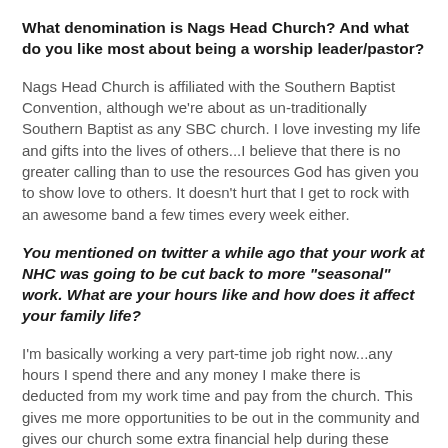What denomination is Nags Head Church? And what do you like most about being a worship leader/pastor?
Nags Head Church is affiliated with the Southern Baptist Convention, although we're about as un-traditionally Southern Baptist as any SBC church. I love investing my life and gifts into the lives of others...I believe that there is no greater calling than to use the resources God has given you to show love to others. It doesn't hurt that I get to rock with an awesome band a few times every week either.
You mentioned on twitter a while ago that your work at NHC was going to be cut back to more "seasonal" work. What are your hours like and how does it affect your family life?
I'm basically working a very part-time job right now...any hours I spend there and any money I make there is deducted from my work time and pay from the church. This gives me more opportunities to be out in the community and gives our church some extra financial help during these difficult economic times. This was a decision that our staff made to